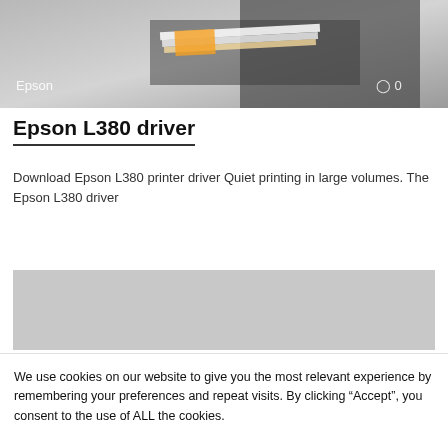[Figure (photo): Photo of an Epson printer with printed pages coming out. White text 'Epson' on lower left and a comment icon with '0' on lower right.]
Epson L380 driver
Download Epson L380 printer driver Quiet printing in large volumes. The Epson L380 driver
[Figure (photo): Gray placeholder image box]
We use cookies on our website to give you the most relevant experience by remembering your preferences and repeat visits. By clicking “Accept”, you consent to the use of ALL the cookies.
Do not sell my personal information.
Cookie settings  ACCEPT